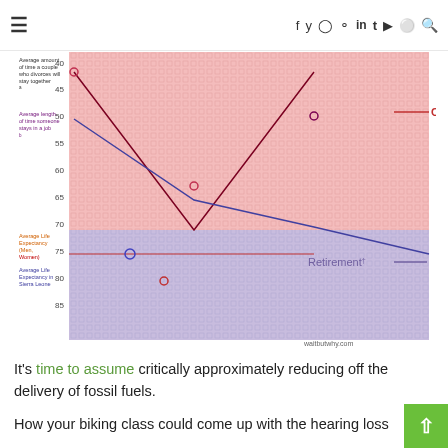☰  f  𝕏  IG  P  in  t  ▶  ○  🔍
[Figure (other): A line chart showing Career (pink/red background) and Retirement (purple/blue background) zones. Lines represent: Average amount of time a couple who divorces will stay together, Average length of time someone stays in a job, Average Life Expectancy (Men, Women) marked in orange/red, Average Life Expectancy in Sierra Leone marked in blue. Y-axis values from 40 to 85. Labels: Career and Retirement on right side. Watermark: waitbutwhy.com]
It's time to assume critically approximately reducing off the delivery of fossil fuels.
How your biking class could come up with the hearing loss
A genetically modified organism ought to cease malaria and store